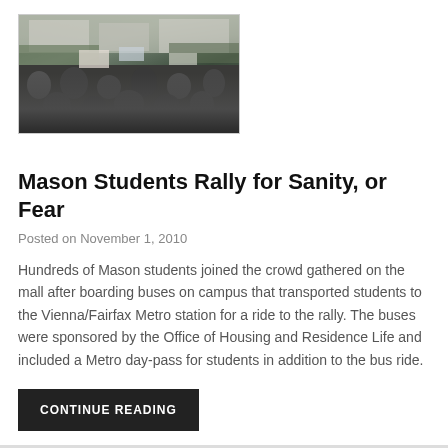[Figure (photo): Crowd of students at a large outdoor rally on the National Mall, with buildings and banners visible in the background.]
Mason Students Rally for Sanity, or Fear
Posted on November 1, 2010
Hundreds of Mason students joined the crowd gathered on the mall after boarding buses on campus that transported students to the Vienna/Fairfax Metro station for a ride to the rally. The buses were sponsored by the Office of Housing and Residence Life and included a Metro day-pass for students in addition to the bus ride.
CONTINUE READING